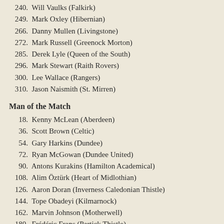240.  Will Vaulks (Falkirk)
249.  Mark Oxley (Hibernian)
266.  Danny Mullen (Livingstone)
272.  Mark Russell (Greenock Morton)
285.  Derek Lyle (Queen of the South)
296.  Mark Stewart (Raith Rovers)
300.  Lee Wallace (Rangers)
310.  Jason Naismith (St. Mirren)
Man of the Match
18.  Kenny McLean (Aberdeen)
36.  Scott Brown (Celtic)
54.  Gary Harkins (Dundee)
72.  Ryan McGowan (Dundee United)
90.  Antons Kurakins (Hamilton Academical)
108.  Alim Öztürk (Heart of Midlothian)
126.  Aaron Doran (Inverness Caledonian Thistle)
144.  Tope Obadeyi (Kilmarnock)
162.  Marvin Johnson (Motherwell)
180.  Frédéric Frans (Partick Thistle)
198.  Liam Boyce (Ross County)